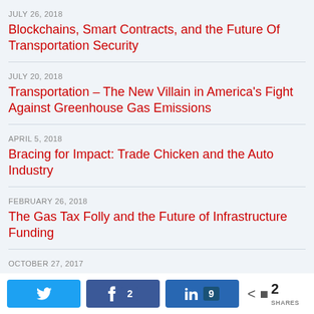JULY 26, 2018
Blockchains, Smart Contracts, and the Future Of Transportation Security
JULY 20, 2018
Transportation – The New Villain in America's Fight Against Greenhouse Gas Emissions
APRIL 5, 2018
Bracing for Impact: Trade Chicken and the Auto Industry
FEBRUARY 26, 2018
The Gas Tax Folly and the Future of Infrastructure Funding
OCTOBER 27, 2017
Twitter share button, Facebook share 2, LinkedIn share 9, Total shares 2